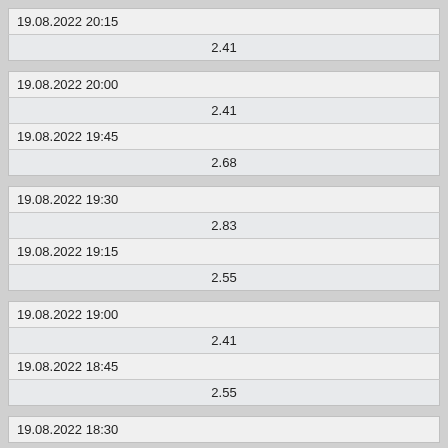| 19.08.2022 20:15 |
| 2.41 |
| 19.08.2022 20:00 |
| 2.41 |
| 19.08.2022 19:45 |
| 2.68 |
| 19.08.2022 19:30 |
| 2.83 |
| 19.08.2022 19:15 |
| 2.55 |
| 19.08.2022 19:00 |
| 2.41 |
| 19.08.2022 18:45 |
| 2.55 |
| 19.08.2022 18:30 |